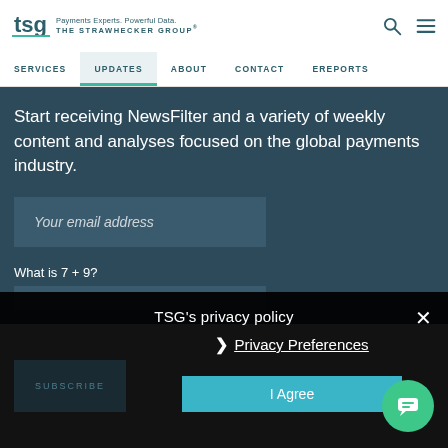TSG - Payments Experts. Powerful Data. THE STRAWHECKER GROUP
SERVICES | UPDATES | ABOUT | CONTACT | EREPORTS
Start receiving NewsFilter and a variety of weekly content and analyses focused on the global payments industry.
Your email address
What is 7 + 9?
TSG's privacy policy
Privacy Preferences
SUBSCRIBE
I Agree